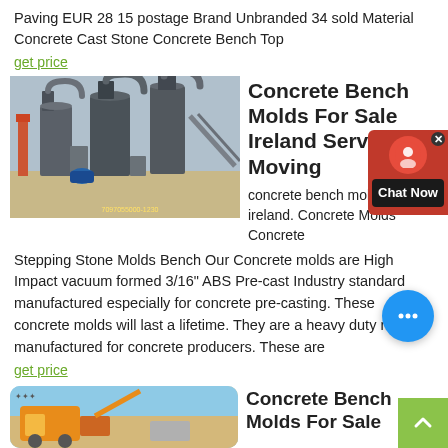Paving EUR 28 15 postage Brand Unbranded 34 sold Material Concrete Cast Stone Concrete Bench Top
get price
[Figure (photo): Industrial machinery/plant equipment photo showing large cylindrical processing units and conveyor structures, with a factory chimney in the background.]
Concrete Bench Molds For Sale Ireland Servic Moving
concrete bench molds for sale ireland. Concrete Molds Concrete Stepping Stone Molds Bench Our Concrete molds are High Impact vacuum formed 3/16" ABS Pre-cast Industry standard manufactured especially for concrete pre-casting. These concrete molds will last a lifetime. They are a heavy duty mold manufactured for concrete producers. These are
get price
[Figure (photo): Construction or mining equipment photo, partially visible at the bottom of the page, showing orange/yellow machinery.]
Concrete Bench Molds For Sale